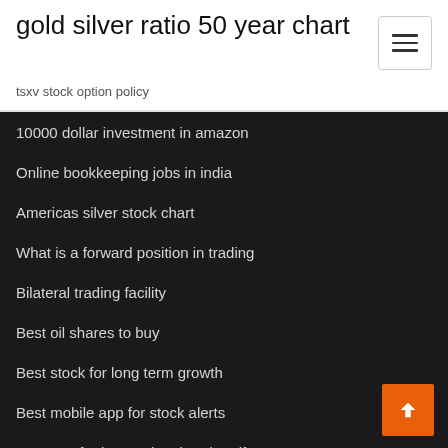gold silver ratio 50 year chart
tsxv stock option policy
10000 dollar investment in amazon
Online bookkeeping jobs in india
Americas silver stock chart
What is a forward position in trading
Bilateral trading facility
Best oil shares to buy
Best stock for long term growth
Best mobile app for stock alerts
Reasons for international trade pdf
Project manager rates south africa